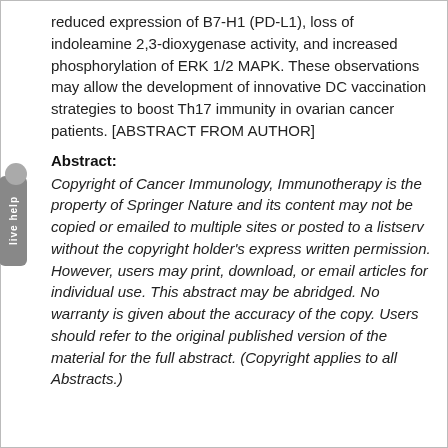reduced expression of B7-H1 (PD-L1), loss of indoleamine 2,3-dioxygenase activity, and increased phosphorylation of ERK 1/2 MAPK. These observations may allow the development of innovative DC vaccination strategies to boost Th17 immunity in ovarian cancer patients. [ABSTRACT FROM AUTHOR]
Abstract:
Copyright of Cancer Immunology, Immunotherapy is the property of Springer Nature and its content may not be copied or emailed to multiple sites or posted to a listserv without the copyright holder's express written permission. However, users may print, download, or email articles for individual use. This abstract may be abridged. No warranty is given about the accuracy of the copy. Users should refer to the original published version of the material for the full abstract. (Copyright applies to all Abstracts.)